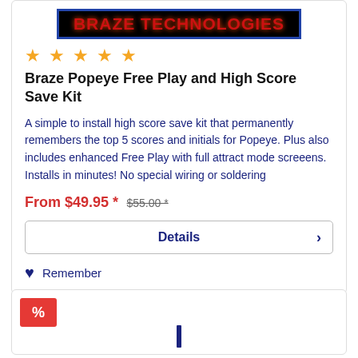[Figure (logo): Braze Technologies logo: black background with blue border, red bold text reading BRAZE TECHNOLOGIES]
★★★★★
Braze Popeye Free Play and High Score Save Kit
A simple to install high score save kit that permanently remembers the top 5 scores and initials for Popeye. Plus also includes enhanced Free Play with full attract mode screeens. Installs in minutes! No special wiring or soldering
From $49.95 * $55.00 *
Details
Remember
[Figure (other): Partial product card with red percent badge and blue vertical bar element at bottom]